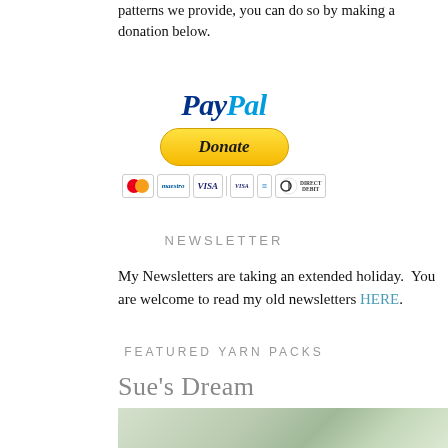patterns we provide, you can do so by making a donation below.
[Figure (logo): PayPal Donate button with payment card icons (MasterCard, Maestro, VISA, VISA Electron, American Express, Direct Debit)]
NEWSLETTER
My Newsletters are taking an extended holiday. You are welcome to read my old newsletters HERE.
FEATURED YARN PACKS
Sue's Dream
[Figure (photo): Photo of plants on a wooden shelf against a white wall]